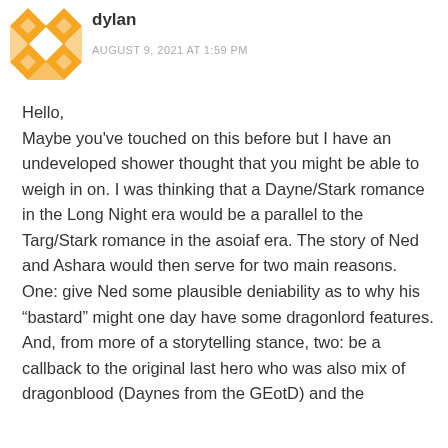[Figure (illustration): Orange and white diamond-pattern avatar icon]
dylan
AUGUST 9, 2021 AT 1:59 PM
Hello,
Maybe you've touched on this before but I have an undeveloped shower thought that you might be able to weigh in on. I was thinking that a Dayne/Stark romance in the Long Night era would be a parallel to the Targ/Stark romance in the asoiaf era. The story of Ned and Ashara would then serve for two main reasons. One: give Ned some plausible deniability as to why his “bastard” might one day have some dragonlord features. And, from more of a storytelling stance, two: be a callback to the original last hero who was also mix of dragonblood (Daynes from the GEotD) and the